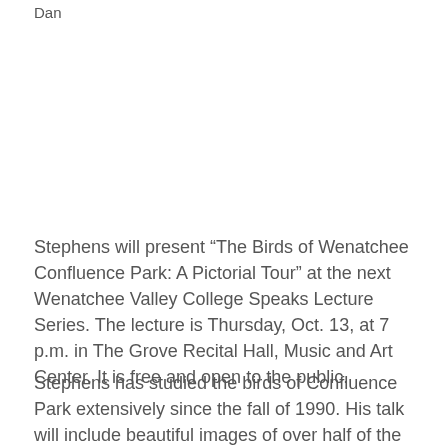Dan
Stephens will present “The Birds of Wenatchee Confluence Park: A Pictorial Tour” at the next Wenatchee Valley College Speaks Lecture Series. The lecture is Thursday, Oct. 13, at 7 p.m. in The Grove Recital Hall, Music and Art Center. It is free and open to the public.
Stephens has studied the birds of Confluence Park extensively since the fall of 1990. His talk will include beautiful images of over half of the 235 species recorded at the park, ordered chronologically from the first